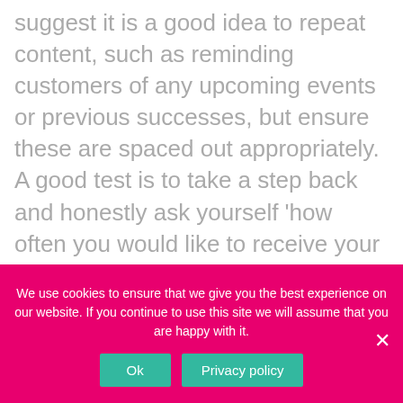suggest it is a good idea to repeat content, such as reminding customers of any upcoming events or previous successes, but ensure these are spaced out appropriately. A good test is to take a step back and honestly ask yourself 'how often you would like to receive your own content?'

The bottom line is, the more content you begin producing, the more likely you will receive attention from your targeted audiences, assuming it is distributed at considered times.
We use cookies to ensure that we give you the best experience on our website. If you continue to use this site we will assume that you are happy with it.